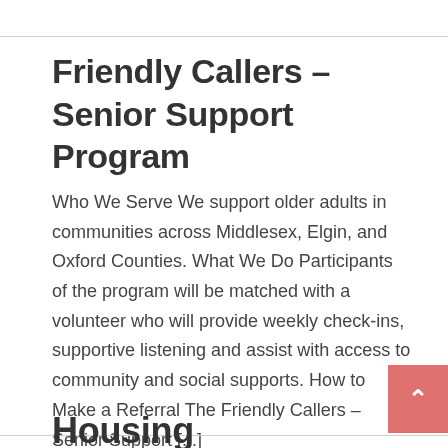Friendly Callers – Senior Support Program
Who We Serve We support older adults in communities across Middlesex, Elgin, and Oxford Counties. What We Do Participants of the program will be matched with a volunteer who will provide weekly check-ins, supportive listening and assist with access to community and social supports. How to Make a Referral The Friendly Callers – Senior Support [...]
Continue reading ▶
Housing